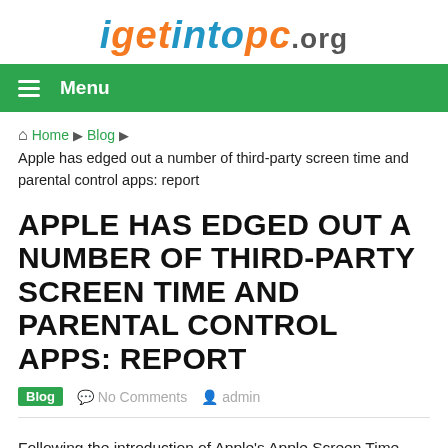igetintopc.org
≡ Menu
Home ▶ Blog ▶ Apple has edged out a number of third-party screen time and parental control apps: report
APPLE HAS EDGED OUT A NUMBER OF THIRD-PARTY SCREEN TIME AND PARENTAL CONTROL APPS: REPORT
Blog  No Comments  admin
Following the introduction of Apple's Apple Screen Time feature, several application developers who created screen tracking and